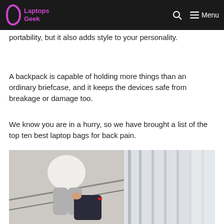Laptops Geek — Menu
portability, but it also adds style to your personality.
A backpack is capable of holding more things than an ordinary briefcase, and it keeps the devices safe from breakage or damage too.
We know you are in a hurry, so we have brought a list of the top ten best laptop bags for back pain.
[Figure (photo): Person sitting on stairs holding a laptop backpack, with glass railings in the background.]